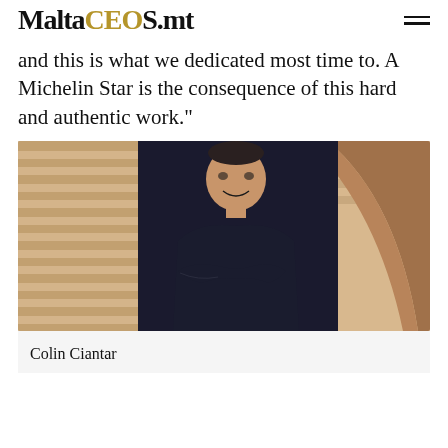MaltaCEOs.mt
and this is what we dedicated most time to. A Michelin Star is the consequence of this hard and authentic work."
[Figure (photo): Portrait photo of Colin Ciantar, a man in a dark navy sweater with arms crossed, smiling, leaning against wooden paneling in what appears to be a restaurant interior.]
Colin Ciantar